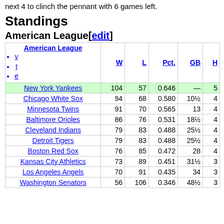next 4 to clinch the pennant with 6 games left.
Standings
American League[edit]
|  | W | L | Pct. | GB | H |
| --- | --- | --- | --- | --- | --- |
| New York Yankees | 104 | 57 | 0.646 | — | 5 |
| Chicago White Sox | 94 | 68 | 0.580 | 10½ | 4 |
| Minnesota Twins | 91 | 70 | 0.565 | 13 | 4 |
| Baltimore Orioles | 86 | 76 | 0.531 | 18½ | 4 |
| Cleveland Indians | 79 | 83 | 0.488 | 25½ | 4 |
| Detroit Tigers | 79 | 83 | 0.488 | 25½ | 4 |
| Boston Red Sox | 76 | 85 | 0.472 | 28 | 4 |
| Kansas City Athletics | 73 | 89 | 0.451 | 31½ | 3 |
| Los Angeles Angels | 70 | 91 | 0.435 | 34 | 3 |
| Washington Senators | 56 | 106 | 0.346 | 48½ | 3 |